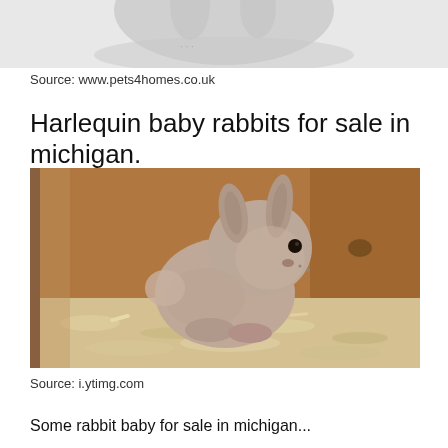[Figure (photo): Partial view of a rabbit photo cropped at top of page, showing bottom portion of a rabbit image.]
Source: www.pets4homes.co.uk
Harlequin baby rabbits for sale in michigan.
[Figure (photo): A small gray/beige baby rabbit sitting on wood shavings inside a wooden enclosure. The rabbit is fluffy and small with dark eyes.]
Source: i.ytimg.com
Some rabbit baby for sale in michigan...